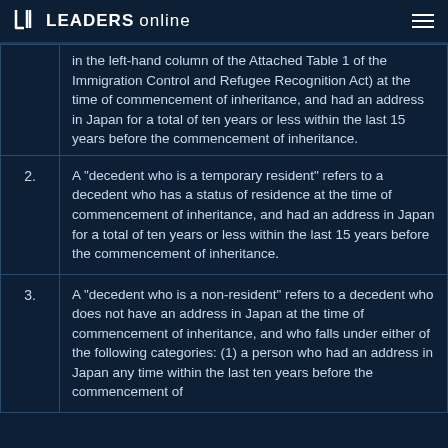LEADERS online
| # | Definition |
| --- | --- |
|  | in the left-hand column of the Attached Table 1 of the Immigration Control and Refugee Recognition Act) at the time of commencement of inheritance, and had an address in Japan for a total of ten years or less within the last 15 years before the commencement of inheritance. |
| 2. | A "decedent who is a temporary resident" refers to a decedent who has a status of residence at the time of commencement of inheritance, and had an address in Japan for a total of ten years or less within the last 15 years before the commencement of inheritance. |
| 3. | A "decedent who is a non-resident" refers to a decedent who does not have an address in Japan at the time of commencement of inheritance, and who falls under either of the following categories: (1) a person who had an address in Japan any time within the last ten years before the commencement of |